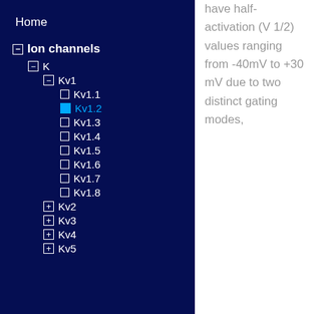Home
Ion channels
K
Kv1
Kv1.1
Kv1.2
Kv1.3
Kv1.4
Kv1.5
Kv1.6
Kv1.7
Kv1.8
Kv2
Kv3
Kv4
Kv5
have half-activation (V 1/2) values ranging from -40mV to +30 mV due to two distinct gating modes,